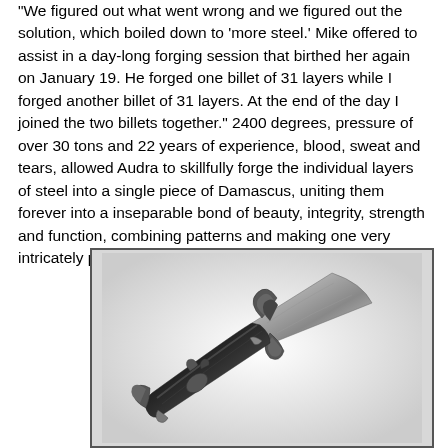"We figured out what went wrong and we figured out the solution, which boiled down to 'more steel.' Mike offered to assist in a day-long forging session that birthed her again on January 19. He forged one billet of 31 layers while I forged another billet of 31 layers. At the end of the day I joined the two billets together." 2400 degrees, pressure of over 30 tons and 22 years of experience, blood, sweat and tears, allowed Audra to skillfully forge the individual layers of steel into a single piece of Damascus, uniting them forever into a inseparable bond of beauty, integrity, strength and function, combining patterns and making one very intricately patterned large billet.
[Figure (photo): Black and white photograph of an ornate Damascus steel knife/dagger with decorative floral/leaf metalwork on the handle and guard, shown diagonally against a white background.]